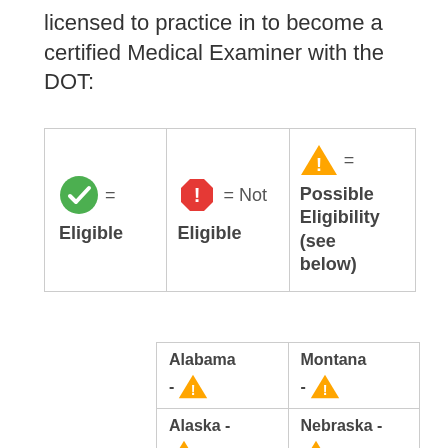licensed to practice in to become a certified Medical Examiner with the DOT:
|  |  |  |
| --- | --- | --- |
| ✓ = Eligible | ⊗ = Not Eligible | ⚠ = Possible Eligibility (see below) |
| Alabama | Montana |
| --- | --- |
| Alabama - ⚠ | Montana - ⚠ |
| Alaska - ⚠ | Nebraska - ⚠ |